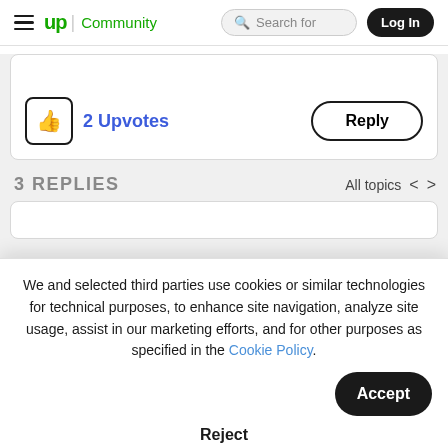up Community | Search for | Log In
[Figure (screenshot): Upwork Community forum page showing upvote button with 2 Upvotes and a Reply button inside a card]
3 REPLIES
All topics
We and selected third parties use cookies or similar technologies for technical purposes, to enhance site navigation, analyze site usage, assist in our marketing efforts, and for other purposes as specified in the Cookie Policy.
Accept
Reject